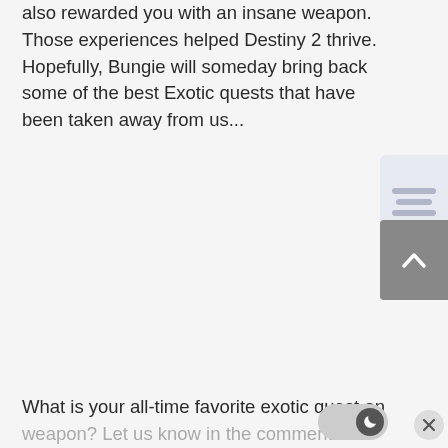also rewarded you with an insane weapon. Those experiences helped Destiny 2 thrive. Hopefully, Bungie will someday bring back some of the best Exotic quests that have been taken away from us...
[Figure (other): Sidebar widget with horizontal lines indicating a collapsed/minimized content panel]
[Figure (other): Back to top button showing an upward chevron arrow on a grey background]
What is your all-time favorite exotic quest and weapon? Let us know in the comments!
[Figure (other): Dark mode toggle button with moon icon, currently toggled on]
[Figure (other): Close/dismiss button (X) circle]